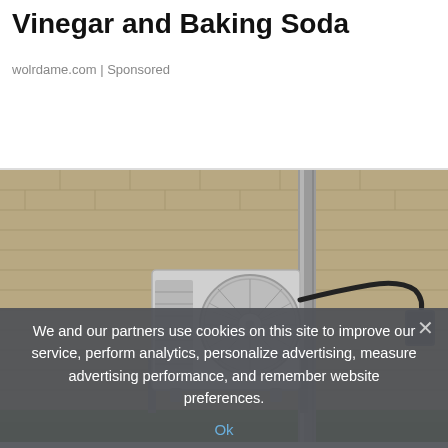Vinegar and Baking Soda
wolrdame.com | Sponsored
[Figure (photo): Outdoor mini-split air conditioning unit mounted on a bracket against a tan brick wall, with a vertical metal conduit pipe and black cable leading to a gray electrical box on the right side of the wall. Green grass visible at bottom.]
We and our partners use cookies on this site to improve our service, perform analytics, personalize advertising, measure advertising performance, and remember website preferences.